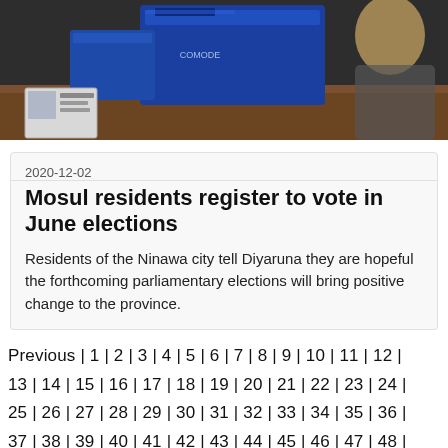[Figure (photo): Photograph showing election registration materials including a blue ballot box on a wooden table, with an ID card visible in the foreground and a person partially visible on the right]
2020-12-02
Mosul residents register to vote in June elections
Residents of the Ninawa city tell Diyaruna they are hopeful the forthcoming parliamentary elections will bring positive change to the province.
Previous | 1 | 2 | 3 | 4 | 5 | 6 | 7 | 8 | 9 | 10 | 11 | 12 | 13 | 14 | 15 | 16 | 17 | 18 | 19 | 20 | 21 | 22 | 23 | 24 | 25 | 26 | 27 | 28 | 29 | 30 | 31 | 32 | 33 | 34 | 35 | 36 | 37 | 38 | 39 | 40 | 41 | 42 | 43 | 44 | 45 | 46 | 47 | 48 | 49 | 50 | 51 | 52 | 53 | 54 | 55 | 56 | 57 | 58 | 59 | 60 | 61 | 62 | 63 | 64 | 65 | 66 | 67 | 68 | 69 | 70 | 71 | 72 | 73 | 74 | 75 | 76 | 77 | 78 | 79 | 80 | 81 | 82 | 83 | 84 | 85 | 86 | 87 | 88 | 89 | 90 | 91 | 92 | 93 | 94 | 95 | 96 | 97 | 98 | 99 | 100 | Next